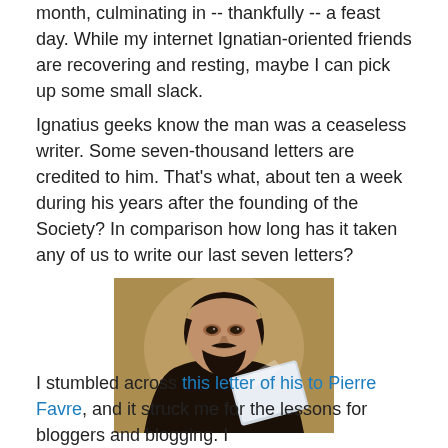month, culminating in -- thankfully -- a feast day. While my internet Ignatian-oriented friends are recovering and resting, maybe I can pick up some small slack.
Ignatius geeks know the man was a ceaseless writer. Some seven-thousand letters are credited to him. That's what, about ten a week during his years after the founding of the Society? In comparison how long has it taken any of us to write our last seven letters?
[Figure (photo): Portrait painting of Ignatius of Loyola, a man with dark beard and dark clerical robes, holding what appears to be a laptop computer (digitally composited). Background is golden-brown aged painting style.]
I stumbled across this letter of his to Pierre Favre, and it struck me for the lessons for bloggers and blogging. I